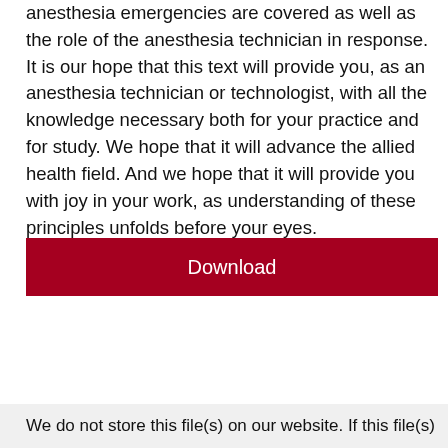anesthesia emergencies are covered as well as the role of the anesthesia technician in response. It is our hope that this text will provide you, as an anesthesia technician or technologist, with all the knowledge necessary both for your practice and for study. We hope that it will advance the allied health field. And we hope that it will provide you with joy in your work, as understanding of these principles unfolds before your eyes.
Download
We do not store this file(s) on our website. If this file(s)